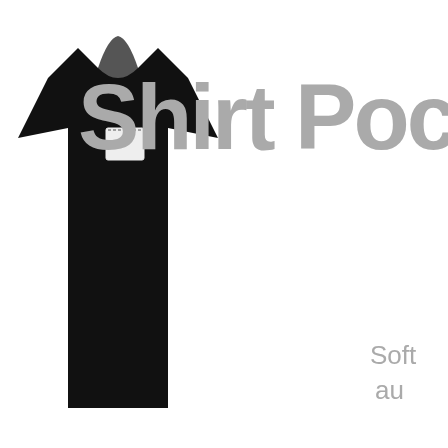[Figure (logo): Shirt Pocket software logo with black t-shirt icon and large gray 'Shirt Pocke' text, subtitle 'Soft... au...' partially visible]
| Home | netTunes | launchTunes | SuperDuper! | Buy Now! |
| --- | --- | --- | --- | --- |
Shirt Pocket Discussions > SuperDuper! > General
Advantageous to use SD! to clone my Time Machine partition?
User Name [input] Remember Me? Password [input] Log in
| FAQ | Community | Calendar | Today's Posts | Search |
| --- | --- | --- | --- | --- |
|  | Thread Tools | Rate Thread | Display Modes |
| --- | --- | --- | --- |